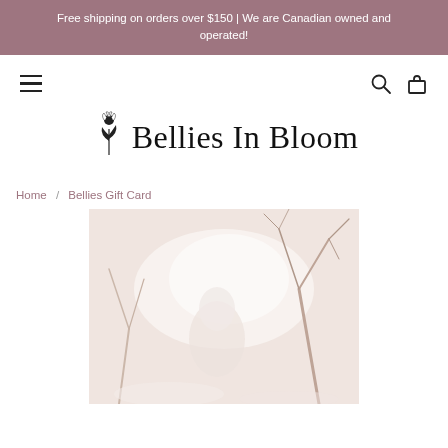Free shipping on orders over $150 | We are Canadian owned and operated!
Bellies In Bloom
Home / Bellies Gift Card
[Figure (photo): An outdoor winter scene with a person or figure in white, bare tree branches visible in background, soft muted warm tones]